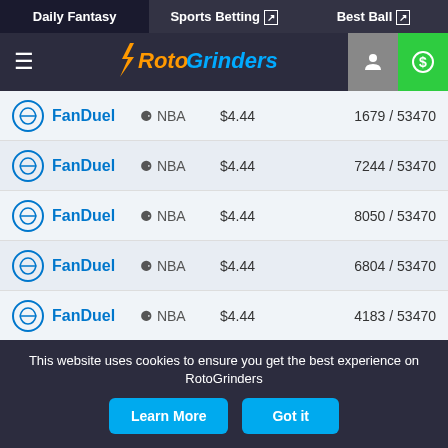Daily Fantasy | Sports Betting | Best Ball
[Figure (logo): RotoGrinders logo with navigation header]
| Site | Sport | Entry Fee | Entries |
| --- | --- | --- | --- |
| FanDuel | NBA | $4.44 | 1679 / 53470 |
| FanDuel | NBA | $4.44 | 7244 / 53470 |
| FanDuel | NBA | $4.44 | 8050 / 53470 |
| FanDuel | NBA | $4.44 | 6804 / 53470 |
| FanDuel | NBA | $4.44 | 4183 / 53470 |
| FanDuel | NBA | $4.44 | 1925 / 53470 |
| FanDuel | NBA | $4.44 | 82 / 1605 |
| FanDuel | NBA | $4.44 | 9789 / 53470 |
This website uses cookies to ensure you get the best experience on RotoGrinders
Learn More | Got it